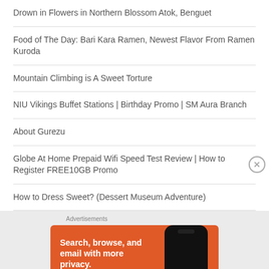Drown in Flowers in Northern Blossom Atok, Benguet
Food of The Day: Bari Kara Ramen, Newest Flavor From Ramen Kuroda
Mountain Climbing is A Sweet Torture
NIU Vikings Buffet Stations | Birthday Promo | SM Aura Branch
About Gurezu
Globe At Home Prepaid Wifi Speed Test Review | How to Register FREE10GB Promo
How to Dress Sweet? (Dessert Museum Adventure)
Advertisements
[Figure (illustration): DuckDuckGo advertisement banner with orange background showing 'Search, browse, and email with more privacy. All in One Free App' with phone graphic and DuckDuckGo logo]